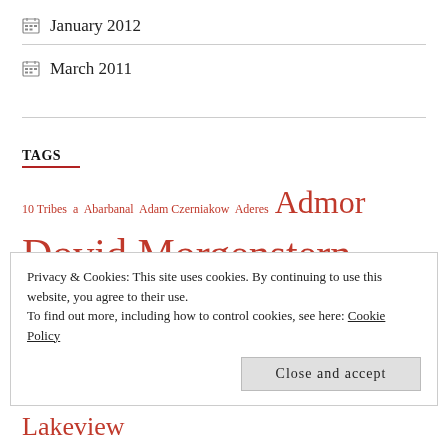January 2012
March 2011
TAGS
10 Tribes  a  Abarbanal  Adam Czerniakow  Aderes  Admor  Dovid Morgenstern  Ahavas Yisroel  Aleppo Codex  Alfie Cherrick  A Man's Wage  Amitai Schwartz's Wedding  Angel Mitatat  Anshei Sholom
Privacy & Cookies: This site uses cookies. By continuing to use this website, you agree to their use.
To find out more, including how to control cookies, see here: Cookie Policy
Close and accept
Cantonists  Cantor Paul Zim  Cats in the Cradle  Chabad of East Lakeview